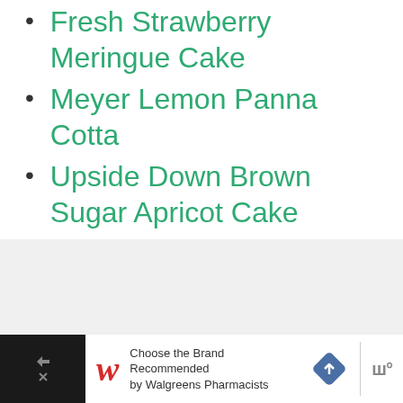Fresh Strawberry Meringue Cake
Meyer Lemon Panna Cotta
Upside Down Brown Sugar Apricot Cake
[Figure (screenshot): Gray placeholder image area with a green heart/like button, a count of 1, and a share button on the right side]
[Figure (infographic): Advertisement bar: Walgreens logo with text 'Choose the Brand Recommended by Walgreens Pharmacists', a blue navigation diamond icon, and a WW logo on black background]